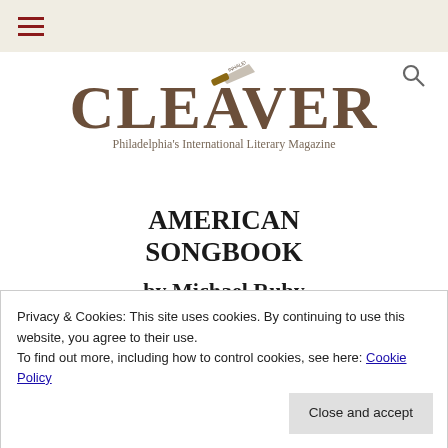≡ (hamburger menu)
[Figure (logo): Cleaver Magazine logo with cleaver/knife illustration above stylized text CLEAVER, Philadelphia's International Literary Magazine]
AMERICAN SONGBOOK
by Michael Ruby
Ugly Duckling Presse, 144 pages
reviewed by Ana Schwartz
Privacy & Cookies: This site uses cookies. By continuing to use this website, you agree to their use. To find out more, including how to control cookies, see here: Cookie Policy